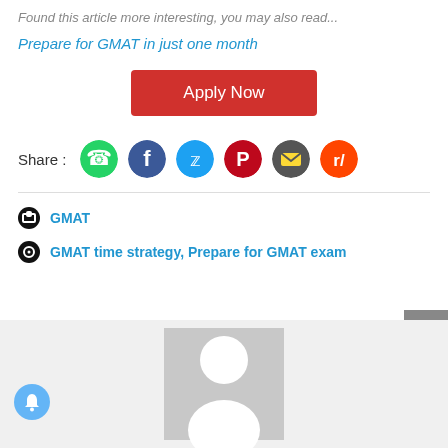Found this article more interesting, you may also read...
Prepare for GMAT in just one month
Apply Now
Share :
GMAT
GMAT time strategy, Prepare for GMAT exam
[Figure (photo): Default user profile avatar placeholder image on grey background]